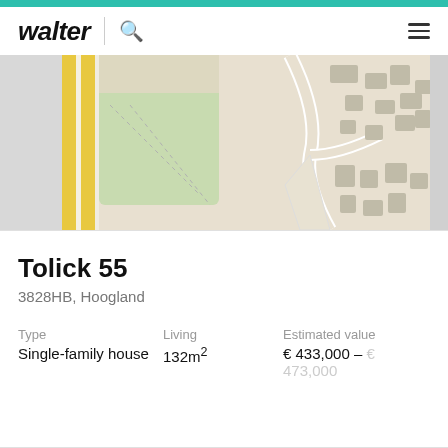walter
[Figure (map): Street map showing Tolick 55 area in Hoogland, with roads, green spaces, and building footprints visible. Yellow road markings and beige/grey building blocks shown.]
Tolick 55
3828HB, Hoogland
| Type | Living | Estimated value |
| --- | --- | --- |
| Single-family house | 132m² | € 433,000 – € 473,000 |